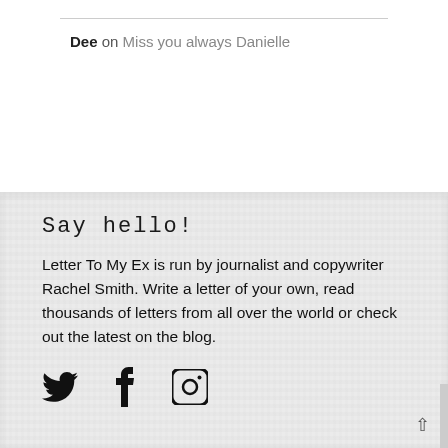Dee on Miss you always Danielle
Say hello!
Letter To My Ex is run by journalist and copywriter Rachel Smith. Write a letter of your own, read thousands of letters from all over the world or check out the latest on the blog.
[Figure (other): Social media icons: Twitter bird, Facebook f, Instagram camera]
^